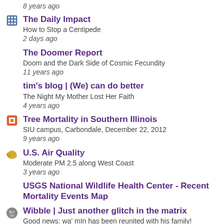8 years ago
The Daily Impact | How to Stop a Centipede | 2 days ago
The Doomer Report | Doom and the Dark Side of Cosmic Fecundity | 11 years ago
tim's blog | (We) can do better | The Night My Mother Lost Her Faith | 4 years ago
Tree Mortality in Southern Illinois | SIU campus, Carbondale, December 22, 2012 | 9 years ago
U.S. Air Quality | Moderate PM 2.5 along West Coast | 3 years ago
USGS National Wildlife Health Center - Recent Mortality Events Map
Wibble | Just another glitch in the matrix | Good news: wa' mIn has been reunited with his family! | 6 days ago